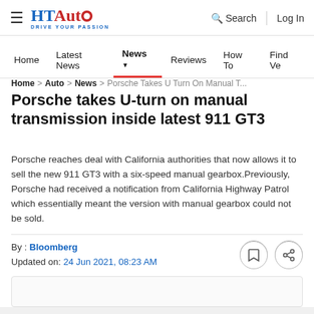HT Auto — Drive Your Passion | Search | Log In
Home | Latest News | News | Reviews | How To | Find Ve...
Home > Auto > News > Porsche Takes U Turn On Manual T...
Porsche takes U-turn on manual transmission inside latest 911 GT3
Porsche reaches deal with California authorities that now allows it to sell the new 911 GT3 with a six-speed manual gearbox.Previously, Porsche had received a notification from California Highway Patrol which essentially meant the version with manual gearbox could not be sold.
By : Bloomberg
Updated on: 24 Jun 2021, 08:23 AM
[Figure (other): Article image placeholder (empty white box)]